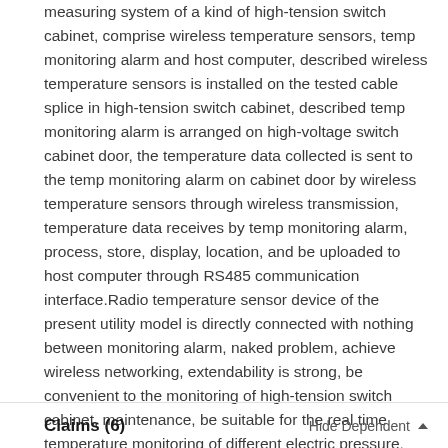measuring system of a kind of high-tension switch cabinet, comprise wireless temperature sensors, temp monitoring alarm and host computer, described wireless temperature sensors is installed on the tested cable splice in high-tension switch cabinet, described temp monitoring alarm is arranged on high-voltage switch cabinet door, the temperature data collected is sent to the temp monitoring alarm on cabinet door by wireless temperature sensors through wireless transmission, temperature data receives by temp monitoring alarm, process, store, display, location, and be uploaded to host computer through RS485 communication interface.Radio temperature sensor device of the present utility model is directly connected with nothing between monitoring alarm, naked problem, achieve wireless networking, extendability is strong, be convenient to the monitoring of high-tension switch cabinet, maintenance, be suitable for the real time temperature monitoring of different electric pressure, varying environment charging equipment, installation is easy should go.
Claims (6)